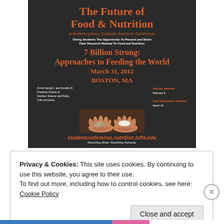The Future of Food & Nutrition
A Multidisciplinary Graduate Research Conference
Giving Students The Opportunity To Present and Share Their Research Related To Food and Nutrition.
7 Billion Strong: Approaches to Feeding the World
March 31, 2012
BOSTON, MA
At the Gerald J. and Dorothy R. Friedman School of Nutrition Science and Policy Tufts University
Abstract deadline: February 8
Early Registration deadline: March 16
[Figure (photo): Two hands held open side by side, one holding coins and one holding white rice/grain]
studentconference.nutrition.tufts.edu
Nourishing Minds. Nourishing Humanity.
Privacy & Cookies: This site uses cookies. By continuing to use this website, you agree to their use.
To find out more, including how to control cookies, see here: Cookie Policy